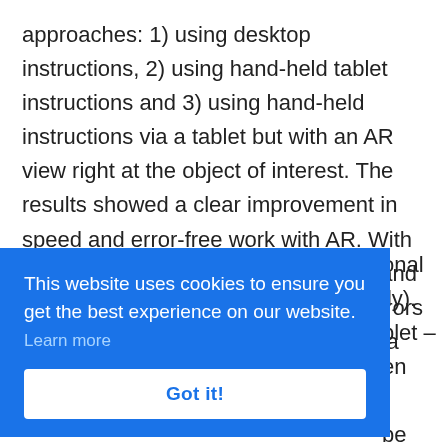approaches: 1) using desktop instructions, 2) using hand-held tablet instructions and 3) using hand-held instructions via a tablet but with an AR view right at the object of interest. The results showed a clear improvement in speed and error-free work with AR. With AR the task was finished 47% faster and only caused 1,5 errors instead of 8 errors average. Other studies even showed a training result with AR that was
onal lly). blet – en be ng
This website uses cookies to ensure you get the best experience on our website. Learn more Got it!